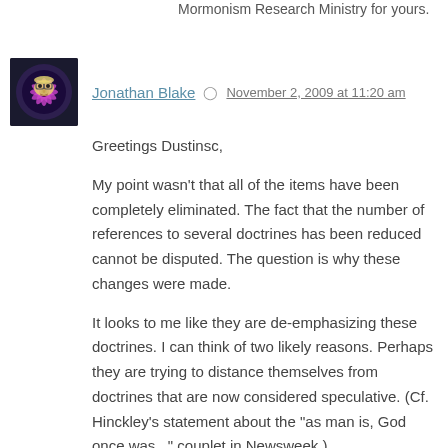Mormonism Research Ministry for yours.
Jonathan Blake  November 2, 2009 at 11:20 am
Greetings Dustinsc,
My point wasn't that all of the items have been completely eliminated. The fact that the number of references to several doctrines has been reduced cannot be disputed. The question is why these changes were made.
It looks to me like they are de-emphasizing these doctrines. I can think of two likely reasons. Perhaps they are trying to distance themselves from doctrines that are now considered speculative. (Cf. Hinckley's statement about the "as man is, God once was..." couplet in Newsweek.)
Or perhaps they're simply trying to avoid exposing new members and investigators to doctrines that cause negative reactions for some.
I can only speculate because the church does these things